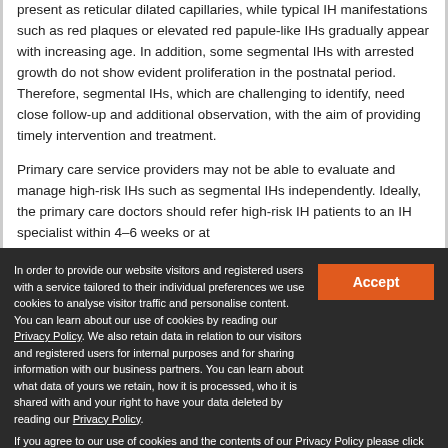present as reticular dilated capillaries, while typical IH manifestations such as red plaques or elevated red papule-like IHs gradually appear with increasing age. In addition, some segmental IHs with arrested growth do not show evident proliferation in the postnatal period. Therefore, segmental IHs, which are challenging to identify, need close follow-up and additional observation, with the aim of providing timely intervention and treatment.
Primary care service providers may not be able to evaluate and manage high-risk IHs such as segmental IHs independently. Ideally, the primary care doctors should refer high-risk IH patients to an IH specialist within 4–6 weeks or at
In order to provide our website visitors and registered users with a service tailored to their individual preferences we use cookies to analyse visitor traffic and personalise content. You can learn about our use of cookies by reading our Privacy Policy. We also retain data in relation to our visitors and registered users for internal purposes and for sharing information with our business partners. You can learn about what data of yours we retain, how it is processed, who it is shared with and your right to have your data deleted by reading our Privacy Policy.
If you agree to our use of cookies and the contents of our Privacy Policy please click 'accept'.